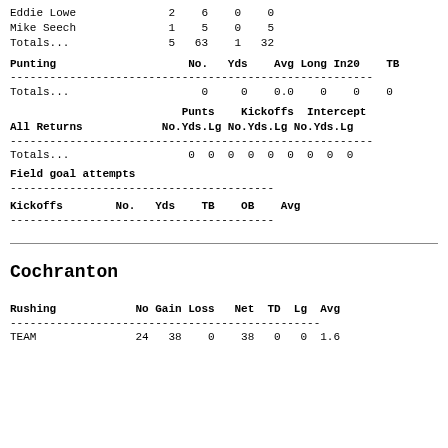| Player |  |  |  |  |
| --- | --- | --- | --- | --- |
| Eddie Lowe | 2 | 6 | 0 | 0 |
| Mike Seech | 1 | 5 | 0 | 5 |
| Totals... | 5 | 63 | 1 | 32 |
| Punting | No. | Yds | Avg | Long | In20 | TB |
| --- | --- | --- | --- | --- | --- | --- |
| Totals... | 0 | 0 | 0.0 | 0 | 0 | 0 |
| All Returns | Punts No. | Punts Yds | Punts Lg | Kickoffs No. | Kickoffs Yds | Kickoffs Lg | Intercept No. | Intercept Yds | Intercept Lg |
| --- | --- | --- | --- | --- | --- | --- | --- | --- | --- |
| Totals... | 0 | 0 | 0 | 0 | 0 | 0 | 0 | 0 | 0 |
Field goal attempts
| Kickoffs | No. | Yds | TB | OB | Avg |
| --- | --- | --- | --- | --- | --- |
Cochranton
| Rushing | No | Gain | Loss | Net | TD | Lg | Avg |
| --- | --- | --- | --- | --- | --- | --- | --- |
| TEAM | 24 | 38 | 0 | 38 | 0 | 0 | 1.6 |